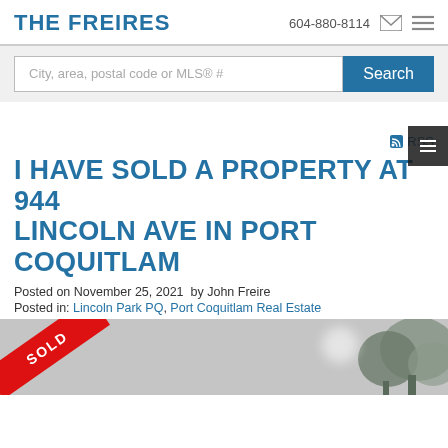THE FREIRES | 604-880-8114
City, area, postal code or MLS® #
RSS
I HAVE SOLD A PROPERTY AT 944 LINCOLN AVE IN PORT COQUITLAM
Posted on November 25, 2021  by John Freire
Posted in: Lincoln Park PQ, Port Coquitlam Real Estate
[Figure (photo): Property photo with red SOLD ribbon banner across the corner, trees visible in background on right side]